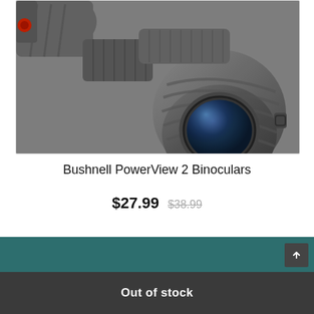[Figure (photo): Close-up photo of Bushnell PowerView 2 Binoculars, showing the gray rubberized body and lens in detail, dark background]
Bushnell PowerView 2 Binoculars
$27.99 $38.99
Out of stock